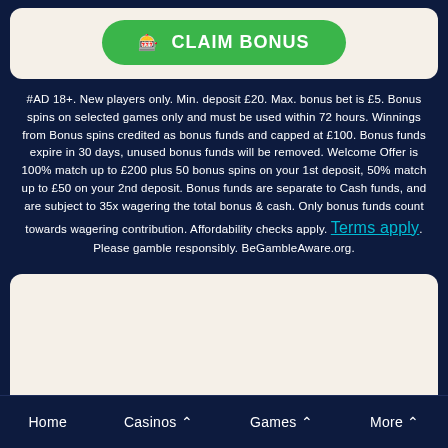[Figure (other): Green rounded button with emoji icons and text CLAIM BONUS on a cream background card]
#AD 18+. New players only. Min. deposit £20. Max. bonus bet is £5. Bonus spins on selected games only and must be used within 72 hours. Winnings from Bonus spins credited as bonus funds and capped at £100. Bonus funds expire in 30 days, unused bonus funds will be removed. Welcome Offer is 100% match up to £200 plus 50 bonus spins on your 1st deposit, 50% match up to £50 on your 2nd deposit. Bonus funds are separate to Cash funds, and are subject to 35x wagering the total bonus & cash. Only bonus funds count towards wagering contribution. Affordability checks apply. Terms apply. Please gamble responsibly. BeGambleAware.org.
[Figure (other): Empty cream-colored content box]
Home   Casinos ^   Games ^   More ^